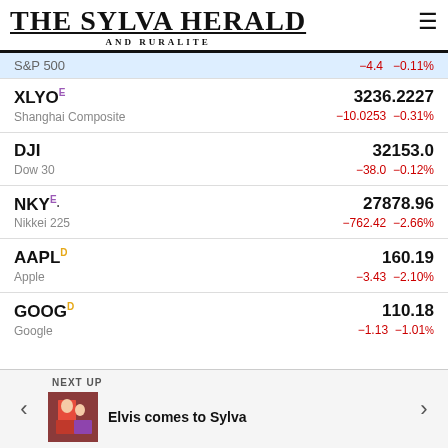THE SYLVA HERALD AND RURALITE
| Symbol | Price | Change | Change% |
| --- | --- | --- | --- |
| S&P 500 (partial) |  | −4.4 | −0.11% |
| XLYO E — Shanghai Composite | 3236.2227 | −10.0253 | −0.31% |
| DJI — Dow 30 | 32153.0 | −38.0 | −0.12% |
| NKY E — Nikkei 225 | 27878.96 | −762.42 | −2.66% |
| AAPL D — Apple | 160.19 | −3.43 | −2.10% |
| GOOG D — Google | 110.18 | −1.13 | −1.01% |
NEXT UP — Elvis comes to Sylva